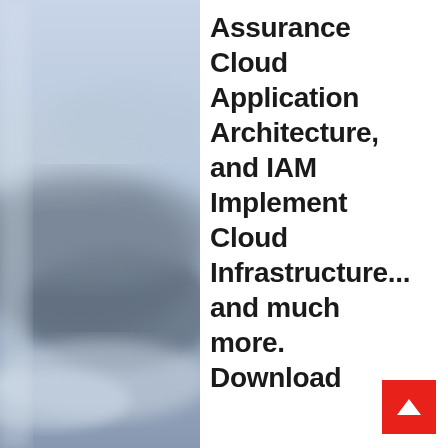[Figure (photo): Blurred photo of clouds and sky in muted blue-grey tones, displayed as a vertical strip on the left side of the page.]
Assurance Cloud Application Architecture, and IAM Implement Cloud Infrastructure… and much more. Download